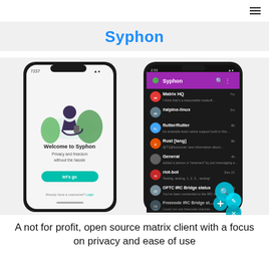≡
Syphon
[Figure (screenshot): Two smartphone screenshots of the Syphon app. Left phone shows iOS app with welcome screen: illustration of a person sitting with plants, text 'Welcome to Syphon', 'Privacy and freedom without the hassle', and a teal 'let's go' button. Right phone shows Android app dark theme with purple header bar showing 'Syphon' title and chat list including Matrix HQ, #alpine-linux, flutter/flutter, Rust (lang), General, riot-bot, OFTC IRC Bridge status, Freenode IRC Bridge, and System Alerts rooms.]
A not for profit, open source matrix client with a focus on privacy and ease of use